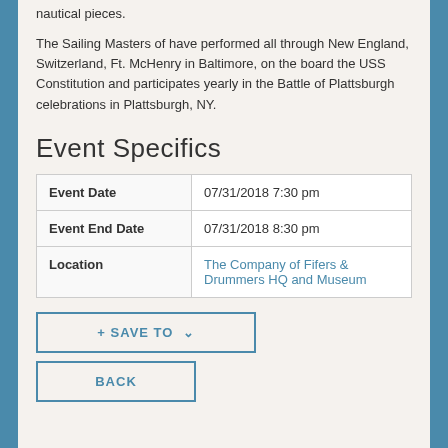nautical pieces.
The Sailing Masters of have performed all through New England, Switzerland, Ft. McHenry in Baltimore, on the board the USS Constitution and participates yearly in the Battle of Plattsburgh celebrations in Plattsburgh, NY.
Event Specifics
|  |  |
| --- | --- |
| Event Date | 07/31/2018 7:30 pm |
| Event End Date | 07/31/2018 8:30 pm |
| Location | The Company of Fifers & Drummers HQ and Museum |
+ SAVE TO ˅
BACK